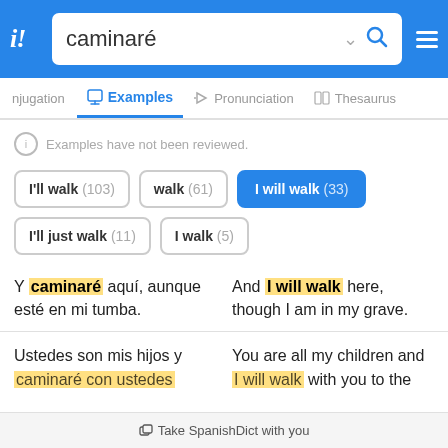caminaré
Examples
Examples have not been reviewed.
I'll walk (103)
walk (61)
I will walk (33)
I'll just walk (11)
I walk (5)
Y caminaré aquí, aunque esté en mi tumba.
And I will walk here, though I am in my grave.
Ustedes son mis hijos y caminaré con ustedes
You are all my children and I will walk with you to the
Take SpanishDict with you